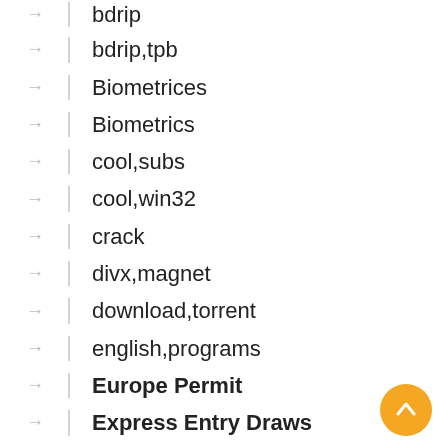bdrip
bdrip,tpb
Biometrices
Biometrics
cool,subs
cool,win32
crack
divx,magnet
download,torrent
english,programs
Europe Permit
Express Entry Draws